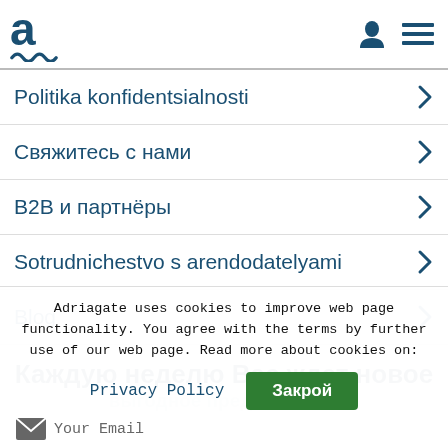Adriagate logo header with user and menu icons
Politika konfidentsialnosti
Свяжитесь с нами
B2B и партнёры
Sotrudnichestvo s arendodatelyami
Blog
Каждую неделю Вас ждет новое выгодное предложение!
Adriagate uses cookies to improve web page functionality. You agree with the terms by further use of our web page. Read more about cookies on:
Privacy Policy  Закрой
Your Email